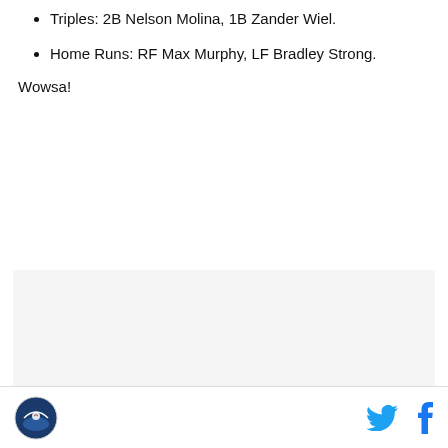Triples: 2B Nelson Molina, 1B Zander Wiel.
Home Runs: RF Max Murphy, LF Bradley Strong.
Wowsa!
[Figure (other): Advertisement placeholder box with 'AD' text label]
Site logo icon and social media icons (Twitter, Facebook)